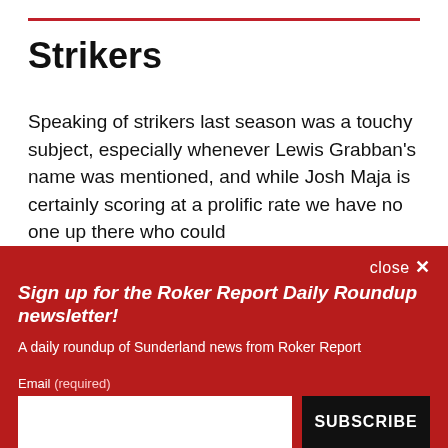Strikers
Speaking of strikers last season was a touchy subject, especially whenever Lewis Grabban's name was mentioned, and while Josh Maja is certainly scoring at a prolific rate we have no one up there who could
Sign up for the Roker Report Daily Roundup newsletter!
A daily roundup of Sunderland news from Roker Report
Email (required)
SUBSCRIBE
By submitting your email, you agree to our Terms and Privacy Notice. You can opt out at any time. This site is protected by reCAPTCHA and the Google Privacy Policy and Terms of Service apply.